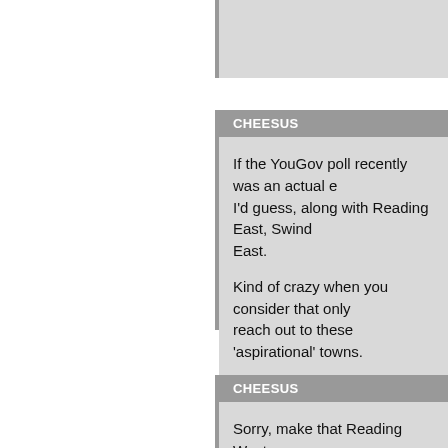(partial comment block, cut off at top)
CHEESUS
If the YouGov poll recently was an actual election I'd guess, along with Reading East, Swind... East.
Kind of crazy when you consider that only... reach out to these ‘aspirational’ towns.
CHEESUS
Sorry, make that Reading West.
POLLTROLL
Talking about these polls – have the pollst... applying those harsh turnout filters that th... can mentally add another three or four po...